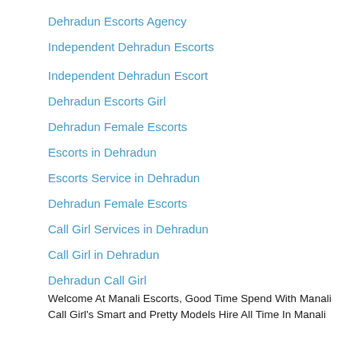Dehradun Escorts Agency
Independent Dehradun Escorts
Independent Dehradun Escort
Dehradun Escorts Girl
Dehradun Female Escorts
Escorts in Dehradun
Escorts Service in Dehradun
Dehradun Female Escorts
Call Girl Services in Dehradun
Call Girl in Dehradun
Dehradun Call Girl
Welcome At Manali Escorts, Good Time Spend With Manali
Call Girl's Smart and Pretty Models Hire All Time In Manali